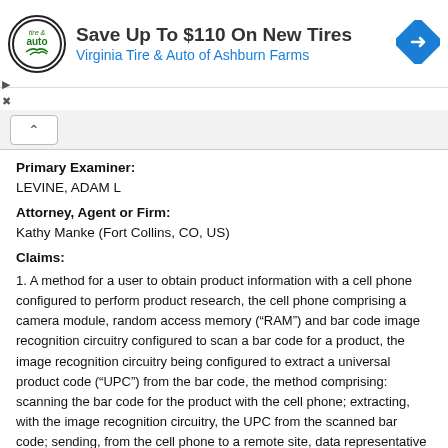[Figure (other): Advertisement banner: Save Up To $110 On New Tires - Virginia Tire & Auto of Ashburn Farms, with tire & auto logo and blue direction sign icon]
Primary Examiner:
LEVINE, ADAM L
Attorney, Agent or Firm:
Kathy Manke (Fort Collins, CO, US)
Claims:
1. A method for a user to obtain product information with a cell phone configured to perform product research, the cell phone comprising a camera module, random access memory ("RAM") and bar code image recognition circuitry configured to scan a bar code for a product, the image recognition circuitry being configured to extract a universal product code ("UPC") from the bar code, the method comprising: scanning the bar code for the product with the cell phone; extracting, with the image recognition circuitry, the UPC from the scanned bar code; sending, from the cell phone to a remote site, data representative of the UPC along with a request for information about the product obtaining, from the remote site, the requested